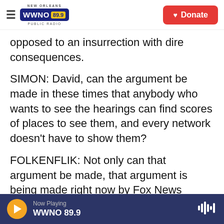WWNO 89.9 New Orleans Public Radio | Donate
opposed to an insurrection with dire consequences.
SIMON: David, can the argument be made in these times that anybody who wants to see the hearings can find scores of places to see them, and every network doesn't have to show them?
FOLKENFLIK: Not only can that argument be made, that argument is being made right now by Fox News executives who say we don't have an obligation to do this. But, you know, there are reasons to look skeptically at that. This is something done as a civic enterprise, in a way, to
Now Playing WWNO 89.9